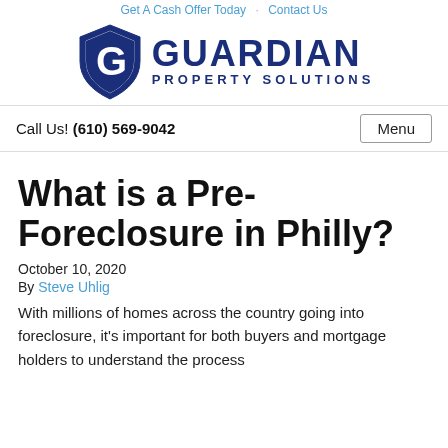Get A Cash Offer Today   Contact Us
[Figure (logo): Guardian Property Solutions logo with shield icon and text]
Call Us! (610) 569-9042
What is a Pre-Foreclosure in Philly?
October 10, 2020
By Steve Uhlig
With millions of homes across the country going into foreclosure, it's important for both buyers and mortgage holders to understand the process